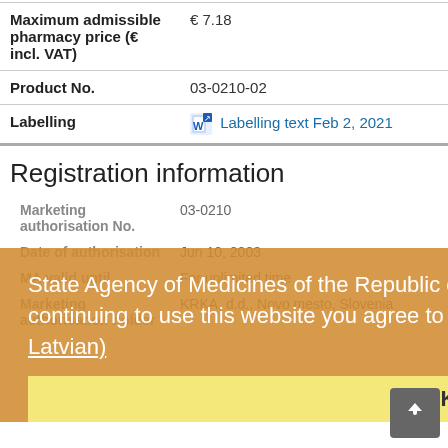| Field | Value |
| --- | --- |
| Maximum admissible pharmacy price (€ incl. VAT) | € 7.18 |
| Product No. | 03-0210-02 |
| Labelling | Labelling text Feb 2, 2021 |
Registration information
| Field | Value |
| --- | --- |
| Marketing authorisation No. | 03-0210 |
| Date of authorisation | Jun 10, 2003 |
| MA valid until | For unlimited time |
| Marketing authorisation holder | KRKA, d.d., Novo mesto, Slovenia |
State Agency of Medicines of the Republic of Latvia website uses cookies. By continuing to use this website you agree to the usage of cookies. Read more (in Latvian)